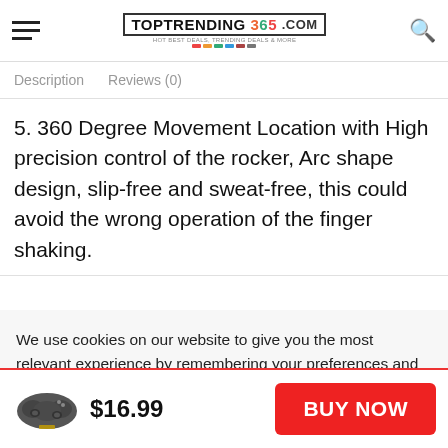TOPTRENDING 365 .COM
Description   Reviews (0)
5. 360 Degree Movement Location with High precision control of the rocker, Arc shape design, slip-free and sweat-free, this could avoid the wrong operation of the finger shaking.
We use cookies on our website to give you the most relevant experience by remembering your preferences and repeat visits. By clicking “Accept All”, you consent to the use of ALL the cookies. However, you may visit “Cookie Settings” to provide a controlled consent.
$16.99
BUY NOW